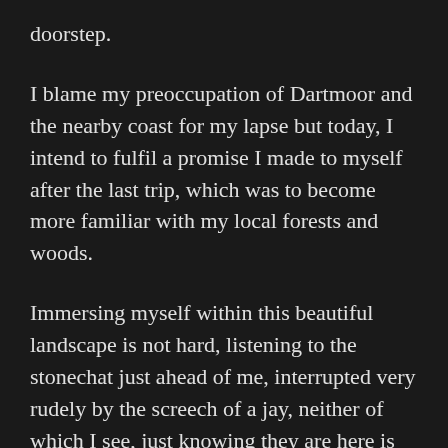doorstep.
I blame my preoccupation of Dartmoor and the nearby coast for my lapse but today, I intend to fulfil a promise I made to myself after the last trip, which was to become more familiar with my local forests and woods.
Immersing myself within this beautiful landscape is not hard, listening to the stonechat just ahead of me, interrupted very rudely by the screech of a jay, neither of which I see, just knowing they are here is good enough.
I choose once more to use my manual focus 50mm lenses (50mm takumar F1.4 and